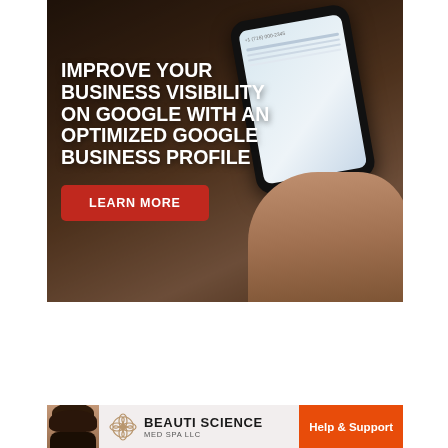[Figure (photo): Advertisement banner: dark blurry background showing a hand holding a smartphone. White bold text reads 'IMPROVE YOUR BUSINESS VISIBILITY ON GOOGLE WITH AN OPTIMIZED GOOGLE BUSINESS PROFILE'. A red button labeled 'LEARN MORE'.]
[Figure (infographic): Purple gradient banner advertisement reading 'Advertise Here –Call Today–' in white serif italic text.]
[Figure (photo): Advertisement for Beauti Science Med Spa LLC showing a woman with brown hair on the left, a floral logo in the center, and an orange 'Help & Support' button on the right.]